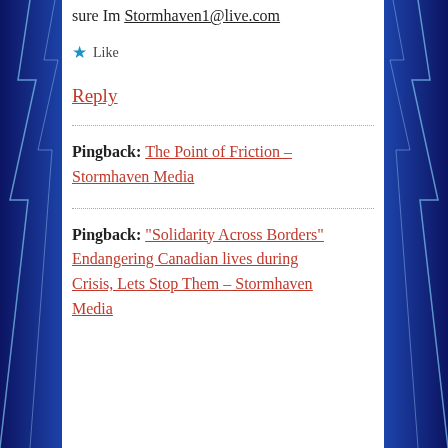sure Im Stormhaven1@live.com
★ Like
Reply
Pingback: The Point of Friction – Stormhaven Media
Pingback: "Solidarity Across Borders" Endangering Canadian lives during Crisis, Lets Stop Them – Stormhaven Media